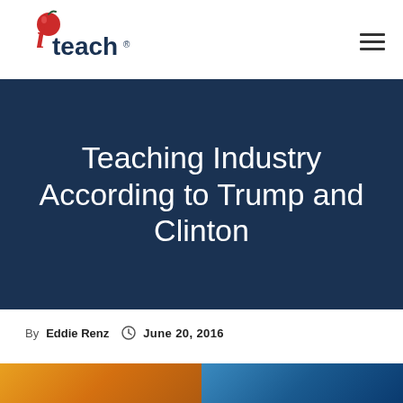iteach logo and navigation
Teaching Industry According to Trump and Clinton
By Eddie Renz  June 20, 2016
[Figure (photo): Two side-by-side photos at the bottom of the page, one with warm orange tones and one with blue tones]